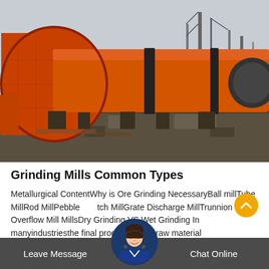[Figure (photo): Large orange cylindrical ball mill / grinding mill industrial equipment sitting on a construction site or factory yard, with steel framework visible in background]
Grinding Mills Common Types
Metallurgical ContentWhy is Ore Grinding NecessaryBall millTube MillRod MillPebble Mill Batch MillGrate Discharge MillTrunnion Overflow Mill MillsDry Grinding VS Wet Grinding In manyindustriesthe final product, or the raw material
Leave Message
Chat Online